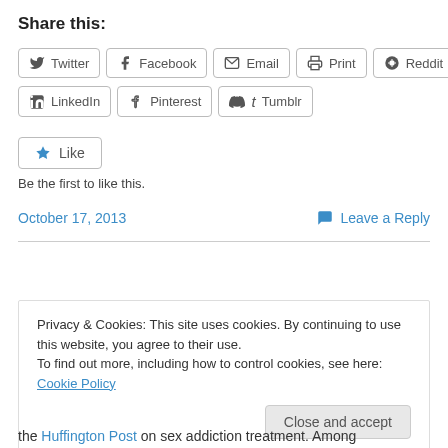Share this:
Twitter | Facebook | Email | Print | Reddit | LinkedIn | Pinterest | Tumblr
Like  Be the first to like this.
October 17, 2013   Leave a Reply
Privacy & Cookies: This site uses cookies. By continuing to use this website, you agree to their use. To find out more, including how to control cookies, see here: Cookie Policy
Close and accept
the Huffington Post on sex addiction treatment. Among